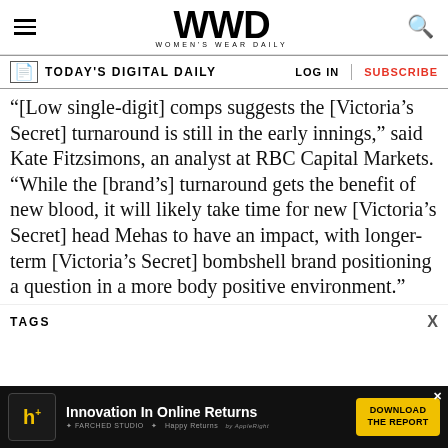WWD — Women's Wear Daily
TODAY'S DIGITAL DAILY | LOG IN | SUBSCRIBE
“[Low single-digit] comps suggests the [Victoria’s Secret] turnaround is still in the early innings,” said Kate Fitzsimons, an analyst at RBC Capital Markets. “While the [brand’s] turnaround gets the benefit of new blood, it will likely take time for new [Victoria’s Secret] head Mehas to have an impact, with longer-term [Victoria’s Secret] bombshell brand positioning a question in a more body positive environment.”
TAGS
[Figure (other): Advertisement banner: Innovation In Online Returns — Happy Returns. Download the Report button.]